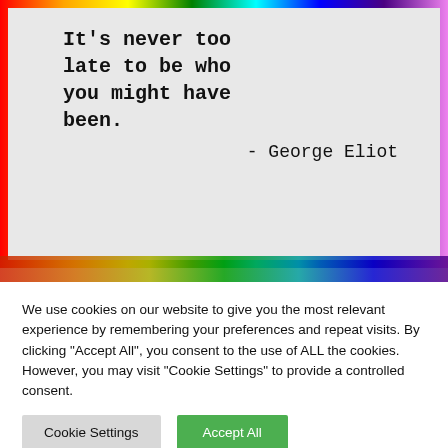[Figure (illustration): A typewritten quote on paper with a rainbow-colored border reading: It's never too late to be who you might have been. – George Eliot]
We use cookies on our website to give you the most relevant experience by remembering your preferences and repeat visits. By clicking "Accept All", you consent to the use of ALL the cookies. However, you may visit "Cookie Settings" to provide a controlled consent.